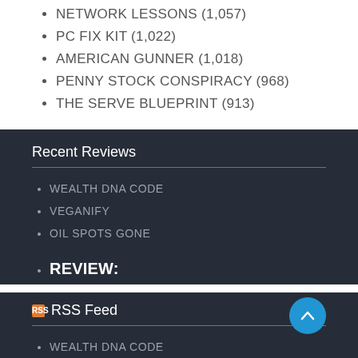NETWORK LESSONS (1,057)
PC FIX KIT (1,022)
AMERICAN GUNNER (1,018)
PENNY STOCK CONSPIRACY (968)
THE SERVE BLUEPRINT (913)
Recent Reviews
WEALTH DNA CODE
VEGANIFY
OIL SPOTS GONE
Review:
RSS Feed
WEALTH DNA CODE